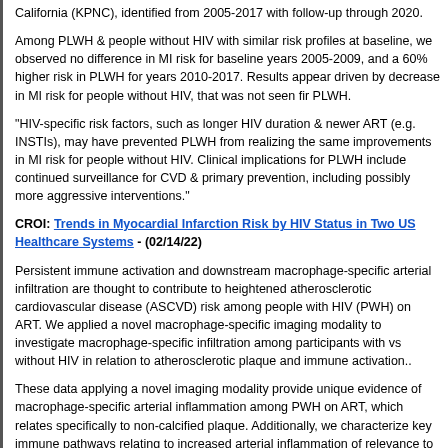California (KPNC), identified from 2005-2017 with follow-up through 2020.
Among PLWH & people without HIV with similar risk profiles at baseline, we observed no difference in MI risk for baseline years 2005-2009, and a 60% higher risk in PLWH for years 2010-2017. Results appear driven by decrease in MI risk for people without HIV, that was not seen fir PLWH.
"HIV-specific risk factors, such as longer HIV duration & newer ART (e.g. INSTIs), may have prevented PLWH from realizing the same improvements in MI risk for people without HIV. Clinical implications for PLWH include continued surveillance for CVD & primary prevention, including possibly more aggressive interventions."
CROI: Trends in Myocardial Infarction Risk by HIV Status in Two US Healthcare Systems - (02/14/22)
Persistent immune activation and downstream macrophage-specific arterial infiltration are thought to contribute to heightened atherosclerotic cardiovascular disease (ASCVD) risk among people with HIV (PWH) on ART. We applied a novel macrophage-specific imaging modality to investigate macrophage-specific infiltration among participants with vs without HIV in relation to atherosclerotic plaque and immune activation..
These data applying a novel imaging modality provide unique evidence of macrophage-specific arterial inflammation among PWH on ART, which relates specifically to non-calcified plaque. Additionally, we characterize key immune pathways relating to increased arterial inflammation of relevance to identifying novel immunomodulatory therapies for CVD reduction.